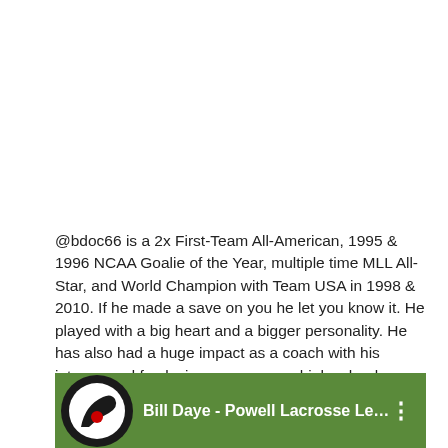@bdoc66 is a 2x First-Team All-American, 1995 & 1996 NCAA Goalie of the Year, multiple time MLL All-Star, and World Champion with Team USA in 1998 & 2010. If he made a save on you he let you know it. He played with a big heart and a bigger personality. He has also had a huge impact as a coach with his intense and fun loving presence on high school, college, and pro sidelines. Doc is an amazing teammate, friend, and one of the best people in the lacrosse community.
[Figure (screenshot): Video thumbnail showing a lacrosse field with a circular logo (black and white with red dot) on the left and the title 'Bill Daye - Powell Lacrosse Lege...' in white text on a green background, with a three-dot menu icon on the right.]